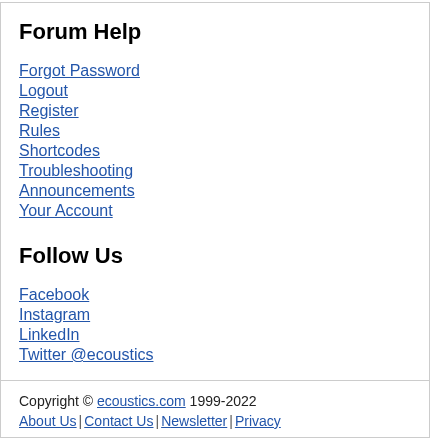Forum Help
Forgot Password
Logout
Register
Rules
Shortcodes
Troubleshooting
Announcements
Your Account
Follow Us
Facebook
Instagram
LinkedIn
Twitter @ecoustics
Copyright © ecoustics.com 1999-2022
About Us | Contact Us | Newsletter | Privacy